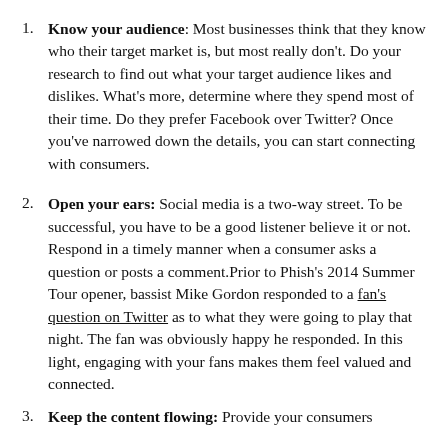Know your audience: Most businesses think that they know who their target market is, but most really don't. Do your research to find out what your target audience likes and dislikes. What's more, determine where they spend most of their time. Do they prefer Facebook over Twitter? Once you've narrowed down the details, you can start connecting with consumers.
Open your ears: Social media is a two-way street. To be successful, you have to be a good listener believe it or not. Respond in a timely manner when a consumer asks a question or posts a comment.Prior to Phish's 2014 Summer Tour opener, bassist Mike Gordon responded to a fan's question on Twitter as to what they were going to play that night. The fan was obviously happy he responded. In this light, engaging with your fans makes them feel valued and connected.
Keep the content flowing: Provide your consumers...